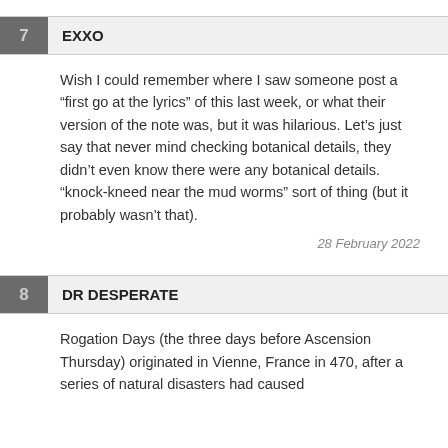7  EXXO
Wish I could remember where I saw someone post a “first go at the lyrics” of this last week, or what their version of the note was, but it was hilarious. Let’s just say that never mind checking botanical details, they didn’t even know there were any botanical details. “knock-kneed near the mud worms” sort of thing (but it probably wasn’t that).
28 February 2022
8  DR DESPERATE
Rogation Days (the three days before Ascension Thursday) originated in Vienne, France in 470, after a series of natural disasters had caused